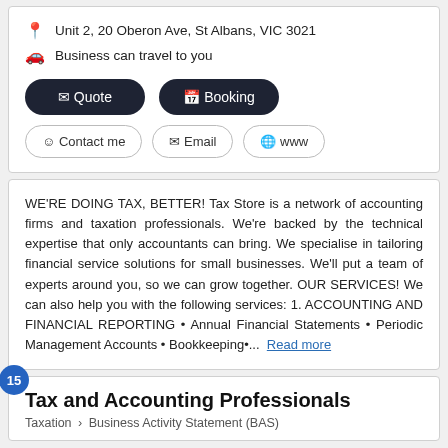Unit 2, 20 Oberon Ave, St Albans, VIC 3021
Business can travel to you
Quote
Booking
Contact me
Email
www
WE'RE DOING TAX, BETTER! Tax Store is a network of accounting firms and taxation professionals. We're backed by the technical expertise that only accountants can bring. We specialise in tailoring financial service solutions for small businesses. We'll put a team of experts around you, so we can grow together. OUR SERVICES! We can also help you with the following services: 1. ACCOUNTING AND FINANCIAL REPORTING • Annual Financial Statements • Periodic Management Accounts • Bookkeeping•... Read more
Tax and Accounting Professionals
Taxation > Business Activity Statement (BAS)